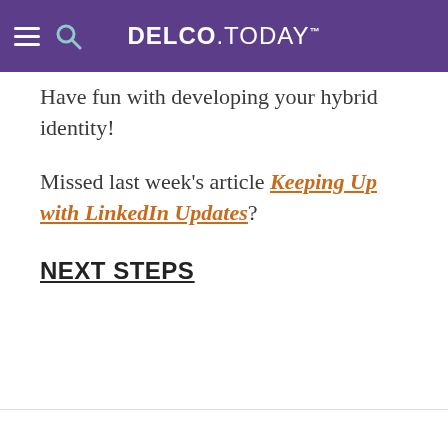DELCO.TODAY
Have fun with developing your hybrid identity!
Missed last week's article Keeping Up with LinkedIn Updates?
NEXT STEPS